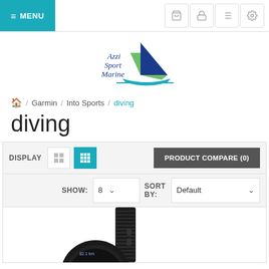≡ MENU
[Figure (logo): Azzi Sport Marine logo with sailboat graphic in blue and green]
🏠 / Garmin / Into Sports / diving
diving
DISPLAY [grid icons] PRODUCT COMPARE (0) SHOW: 8 ∨ SORT BY: Default ∨
[Figure (photo): Partial view of a Garmin diving watch/computer in black]